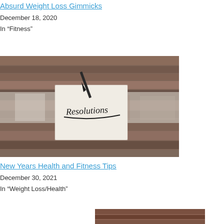Absurd Weight Loss Gimmicks
December 18, 2020
In "Fitness"
[Figure (photo): A note card with 'Resolutions' written in handwriting, tacked to a weathered white-painted wooden board with a black pen or pencil]
New Years Health and Fitness Tips
December 30, 2021
In "Weight Loss/Health"
[Figure (photo): Partial image visible at bottom of page, appears to be a similar wooden surface]